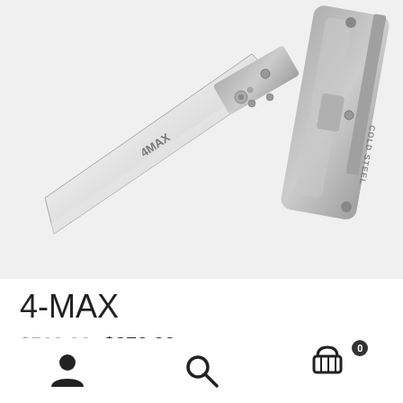[Figure (photo): Two Cold Steel 4-MAX folding knives shown side by side. The left shows the open blade with '4MAX' text on it, and the right shows the closed handle. Both have gray/silver aluminum handles with metallic blades.]
4-MAX
$569.99  $270.00
User icon | Search icon | Cart icon with badge 0